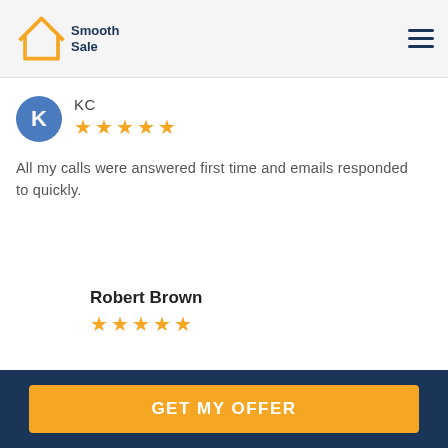[Figure (logo): Smooth Sale house logo with orange outline and dark blue text]
KC
[Figure (infographic): 5 orange star rating]
All my calls were answered first time and emails responded to quickly.
Robert Brown
[Figure (infographic): 5 orange star rating]
GET MY OFFER